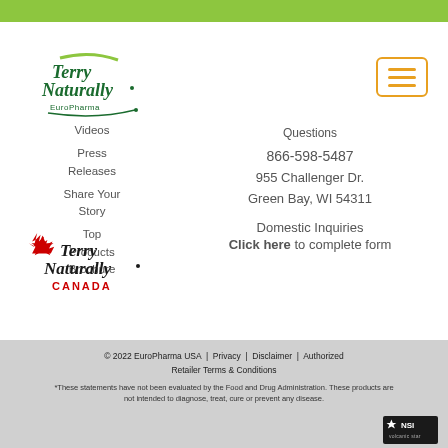[Figure (logo): Terry Naturally EuroPharma logo in green script font with leaf design]
[Figure (other): Hamburger menu button with orange/gold border and three horizontal lines]
Videos
Press Releases
Share Your Story
Top Products Brochure
Questions
866-598-5487
955 Challenger Dr. Green Bay, WI 54311
Domestic Inquiries
Click here to complete form
[Figure (logo): Terry Naturally Canada logo with red maple leaf]
© 2022 EuroPharma USA  |  Privacy  |  Disclaimer  |  Authorized Retailer Terms & Conditions
*These statements have not been evaluated by the Food and Drug Administration. These products are not intended to diagnose, treat, cure or prevent any disease.
[Figure (logo): NSI volcanic star logo]